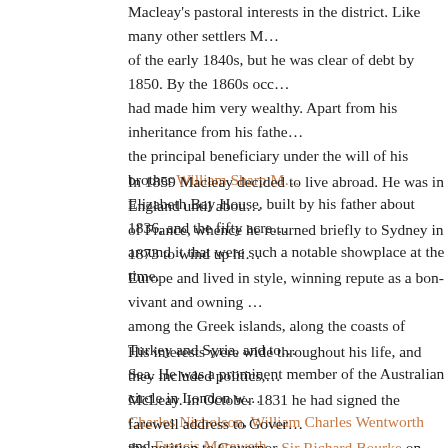Macleay's pastoral interests in the district. Like many other settlers M... of the early 1840s, but he was clear of debt by 1850. By the 1860s occ... had made him very wealthy. Apart from his inheritance from his fathe... the principal beneficiary under the will of his brother William Sharp M... Elizabeth Bay House, built by his father about 1836, and the fifty acre... around it that were such a notable showplace at the time.
In 1859 Macleay decided to live abroad. He was in England until abou... of France, whence he returned briefly to Sydney in 1873 to wind up hi... Europe and lived in style, winning repute as a bon-vivant and owning ... among the Greek islands, along the coasts of Turkey and Syria, and to... Sea. He was a prominent member of the Australian circle in London w... Charles Nicholson, William Charles Wentworth and Francis Mereweth... Nile and Jerusalem, accompanied by two nieces, and Nicholson wrote... Sydney: 'Macleay's love for locomotion is, considering his time of life...
His interests were wide throughout his life, and they included politics,... McLeay. In October 1831 he had signed the farewell address to Gover... the petition to Governor Sir Richard Bourke on education. In 1842 he... obtaining permission to import coolies from India, and in 1846 he was... appointed a road trust commissioner for Narellan in December 1849, a... for the Murrumbidgee district to the Legislative Council, holding the...